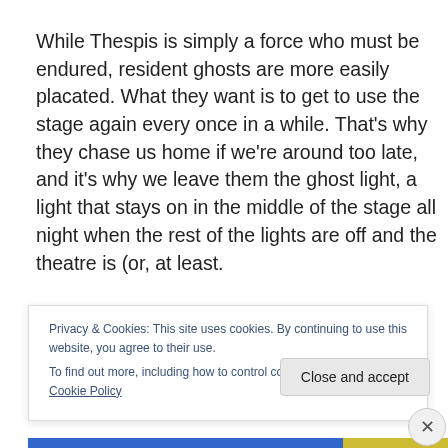While Thespis is simply a force who must be endured, resident ghosts are more easily placated. What they want is to get to use the stage again every once in a while. That's why they chase us home if we're around too late, and it's why we leave them the ghost light, a light that stays on in the middle of the stage all night when the rest of the lights are off and the theatre is (or, at least.
Privacy & Cookies: This site uses cookies. By continuing to use this website, you agree to their use.
To find out more, including how to control cookies, see here: Cookie Policy
Close and accept